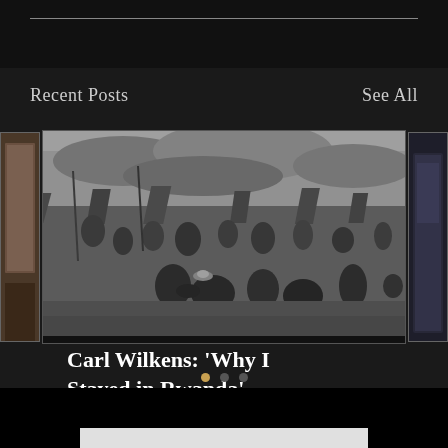Recent Posts
See All
[Figure (photo): Black and white photograph of a large refugee camp in Rwanda, showing many people amid tents, cooking fires, and belongings spread across an open field under cloudy skies.]
Carl Wilkens: ‘Why I Stayed in Rwanda’